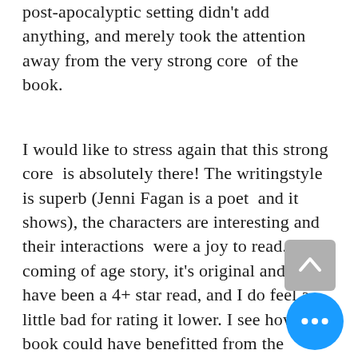post-apocalyptic setting didn't add anything, and merely took the attention away from the very strong core  of the book.
I would like to stress again that this strong core  is absolutely there! The writingstyle is superb (Jenni Fagan is a poet  and it shows), the characters are interesting and their interactions  were a joy to read. As a coming of age story, it's original and could  have been a 4+ star read, and I do feel a little bad for rating it lower. I see how the book could have benefitted from the setting, but  the execution left some to be desired for the reasons I mentioned  above